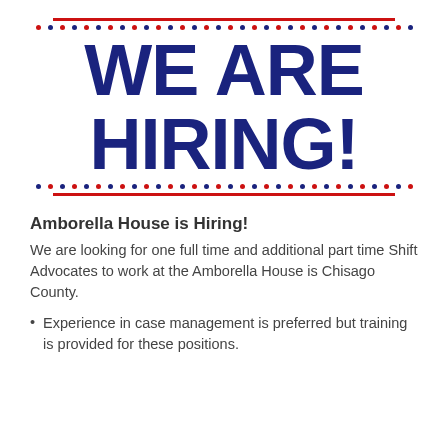[Figure (illustration): Red and blue decorative banner with large bold dark blue text reading 'WE ARE HIRING!' flanked by red horizontal lines and rows of alternating red and blue dots above and below.]
Amborella House is Hiring!
We are looking for one full time and additional part time Shift Advocates to work at the Amborella House is Chisago County.
Experience in case management is preferred but training is provided for these positions.